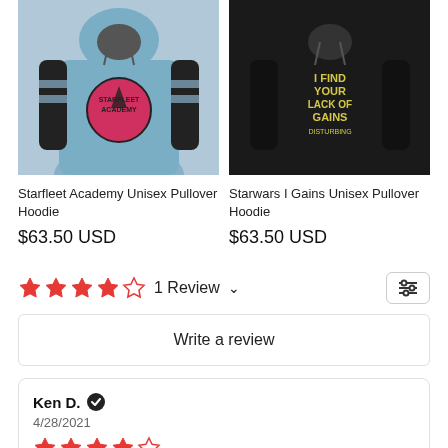[Figure (photo): Starfleet Academy Unisex Pullover Hoodie product image – blue and black hoodie with Starfleet Academy logo]
[Figure (photo): Starwars I Gains Unisex Pullover Hoodie product image – black hoodie with yellow text 'I FIND YOUR LACK OF GAINS DISTURBING']
Starfleet Academy Unisex Pullover Hoodie
Starwars I Gains Unisex Pullover Hoodie
$63.50 USD
$63.50 USD
1 Review
Write a review
Ken D.
4/28/2021